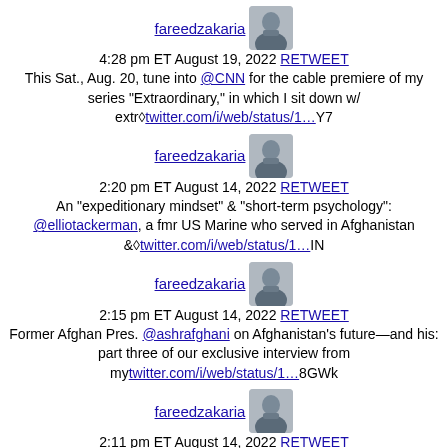fareedzakaria 4:28 pm ET August 19, 2022 RETWEET This Sat., Aug. 20, tune into @CNN for the cable premiere of my series "Extraordinary," in which I sit down w/ extr�twitter.com/i/web/status/1…Y7
fareedzakaria 2:20 pm ET August 14, 2022 RETWEET An "expeditionary mindset" & "short-term psychology": @elliotackerman, a fmr US Marine who served in Afghanistan &�twitter.com/i/web/status/1…IN
fareedzakaria 2:15 pm ET August 14, 2022 RETWEET Former Afghan Pres. @ashrafghani on Afghanistan's future—and his: part three of our exclusive interview from mytwitter.com/i/web/status/1…8GWk
fareedzakaria 2:11 pm ET August 14, 2022 RETWEET